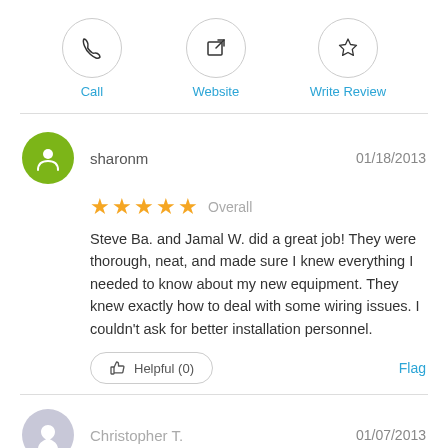[Figure (infographic): Three action buttons: Call (phone icon in circle), Website (external link icon in circle), Write Review (star icon in circle), each with label in blue below]
sharonm   01/18/2013
★★★★★ Overall
Steve Ba. and Jamal W. did a great job! They were thorough, neat, and made sure I knew everything I needed to know about my new equipment. They knew exactly how to deal with some wiring issues. I couldn't ask for better installation personnel.
Helpful (0)   Flag
Christopher T.   01/07/2013
★☆☆☆☆ Overall